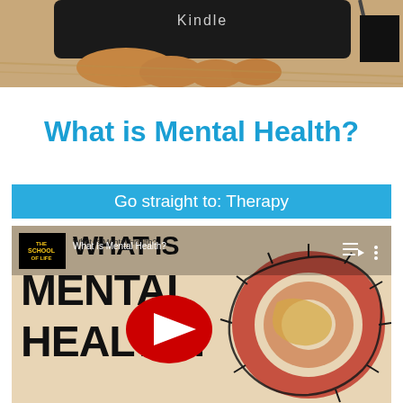[Figure (photo): Person holding a Kindle e-reader device, dark background with wood surface visible underneath]
What is Mental Health?
Go straight to: Therapy
[Figure (screenshot): YouTube video thumbnail for 'What Is Mental Health?' by The School of Life, showing bold text MENTAL HEALTH? with a donut illustration and a red YouTube play button in the center]